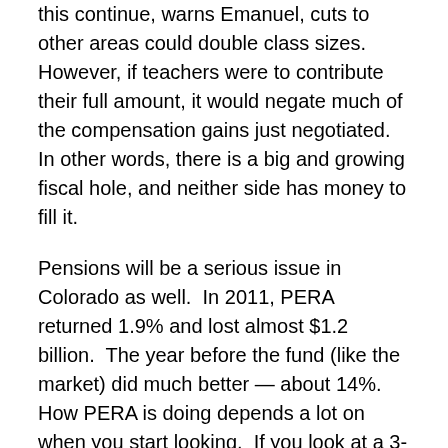this continue, warns Emanuel, cuts to other areas could double class sizes.  However, if teachers were to contribute their full amount, it would negate much of the compensation gains just negotiated.  In other words, there is a big and growing fiscal hole, and neither side has money to fill it.
Pensions will be a serious issue in Colorado as well.  In 2011, PERA returned 1.9% and lost almost $1.2 billion.  The year before the fund (like the market) did much better — about 14%.  How PERA is doing depends a lot on when you start looking.  If you look at a 3-year annualized return ending in 1999, the fund averaged -1.5%; a 3-year annualized return starting in 1999 averaged 10.9%.
However the 8% projection PERA uses strikes many people (myself included) as overly optimistic.  As this